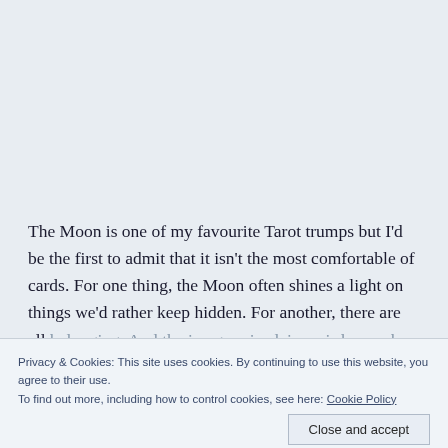The Moon is one of my favourite Tarot trumps but I'd be the first to admit that it isn't the most comfortable of cards. For one thing, the Moon often shines a light on things we'd rather keep hidden. For another, there are all belonging. And the imagery is plain weird, even by the standards of the Tarot. And yet, it's also one of the most powerful 'teaching' cards, holding up a mirror to those neglected or repressed elements of ourselves and our strengths that the following card in the sequence, the
Privacy & Cookies: This site uses cookies. By continuing to use this website, you agree to their use. To find out more, including how to control cookies, see here: Cookie Policy